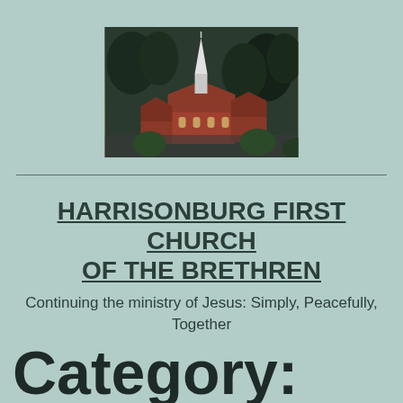[Figure (photo): Aerial photograph of Harrisonburg First Church of the Brethren building with a prominent white steeple, surrounded by trees and parking areas]
HARRISONBURG FIRST CHURCH OF THE BRETHREN
Continuing the ministry of Jesus: Simply, Peacefully, Together
Category: